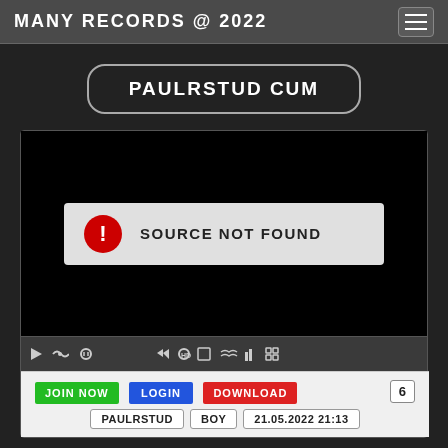MANY RECORDS @ 2022
PAULRSTUD CUM
[Figure (screenshot): Video player showing SOURCE NOT FOUND error with red exclamation icon on black background, with playback controls at bottom]
JOIN NOW  LOGIN  DOWNLOAD  6
PAULRSTUD  BOY  21.05.2022 21:13